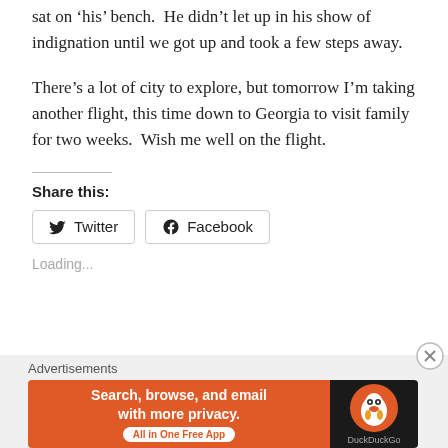sat on ‘his’ bench.  He didn’t let up in his show of indignation until we got up and took a few steps away.
There’s a lot of city to explore, but tomorrow I’m taking another flight, this time down to Georgia to visit family for two weeks.  Wish me well on the flight.
Share this:
[Figure (other): Share buttons for Twitter and Facebook]
Loading...
Advertisements
[Figure (other): DuckDuckGo advertisement banner: Search, browse, and email with more privacy. All in One Free App.]